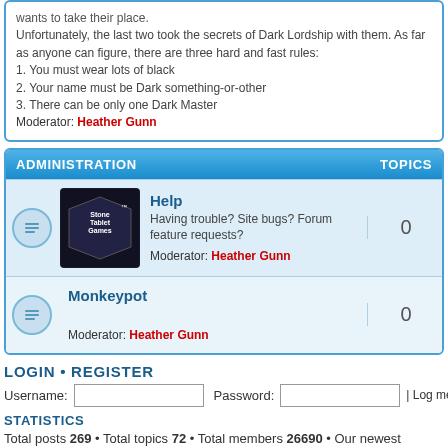wants to take their place. Unfortunately, the last two took the secrets of Dark Lordship with them. As far as anyone can figure, there are three hard and fast rules:
1. You must wear lots of black
2. Your name must be Dark something-or-other
3. There can be only one Dark Master
Moderator: Heather Gunn
ADMINISTRATION   TOPICS
Help
Having trouble? Site bugs? Forum feature requests?
Moderator: Heather Gunn
Monkeypot
Moderator: Heather Gunn
LOGIN • REGISTER
Username: [input] Password: [input] | Log me on autom
STATISTICS
Total posts 269 • Total topics 72 • Total members 26690 • Our newest member Bblythe...
Board index   The team • Delete all board c...
Powered by phpBB® Forum Software © phpBB Gr...